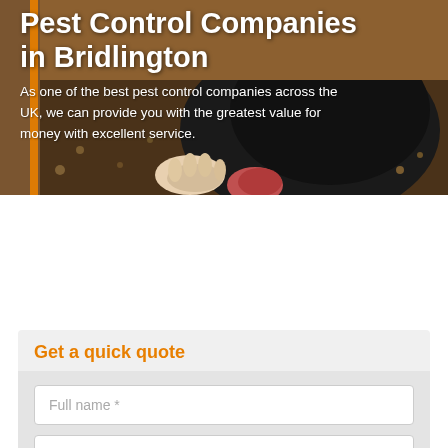[Figure (photo): Close-up photo of a mole emerging from dark soil, with dark fur and a pink snout visible, set against brown earth background. White text overlay reads 'Pest Control Companies in Bridlington' with subtitle text below.]
Pest Control Companies in Bridlington
As one of the best pest control companies across the UK, we can provide you with the greatest value for money with excellent service.
Get a quick quote
Full name *
Email Address *